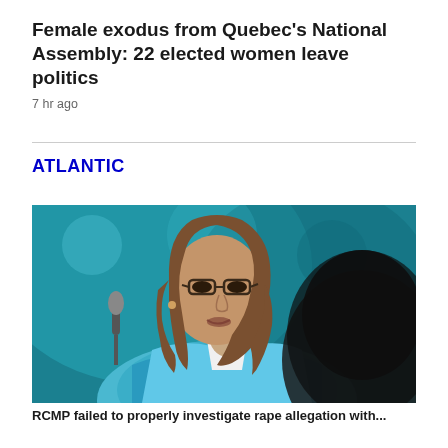Female exodus from Quebec's National Assembly: 22 elected women leave politics
7 hr ago
ATLANTIC
[Figure (photo): A middle-aged woman with brown shoulder-length hair and glasses, wearing a light blue patterned top, speaking at a microphone. A blurred silhouette of another person's head is visible in the foreground right. The background is teal/blue blurred.]
RCMP failed to properly investigate rape allegation with...